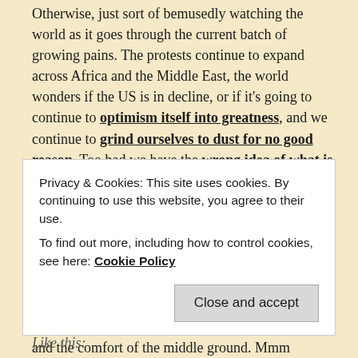Otherwise, just sort of bemusedly watching the world as it goes through the current batch of growing pains. The protests continue to expand across Africa and the Middle East, the world wonders if the US is in decline, or if it's going to continue to optimism itself into greatness, and we continue to grind ourselves to dust for no good reason. Too bad we have the wrong idea of what is going to make us happy to boot, eh? 😉 Number four on that Cracked list is especially apt to me, and reminds me with some amusement of a comment one of my good friends made in the past week about advertisers trying to convince you that you need their product to be happy. But myself, I'm in the school of thought that happiness as we're sold doesn't exist; I always will aim for contentedness and the comfort of the middle ground. Mmm Rutville, you are the true way. <3

Anyhoos, I pack up and flee for the day. I hope everyone is having a lovely Thursday, and all of that razzamajazz.
Privacy & Cookies: This site uses cookies. By continuing to use this website, you agree to their use.
To find out more, including how to control cookies, see here: Cookie Policy
Like this: